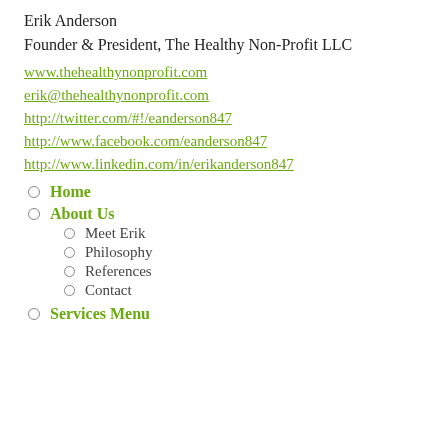Erik Anderson
Founder & President, The Healthy Non-Profit LLC
www.thehealthynonprofit.com
erik@thehealthynonprofit.com
http://twitter.com/#!/eanderson847
http://www.facebook.com/eanderson847
http://www.linkedin.com/in/erikanderson847
Home
About Us
Meet Erik
Philosophy
References
Contact
Services Menu